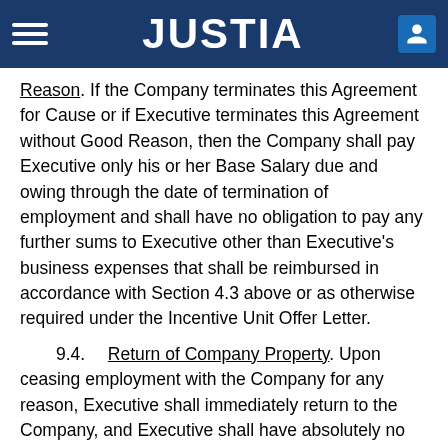JUSTIA
Reason. If the Company terminates this Agreement for Cause or if Executive terminates this Agreement without Good Reason, then the Company shall pay Executive only his or her Base Salary due and owing through the date of termination of employment and shall have no obligation to pay any further sums to Executive other than Executive’s business expenses that shall be reimbursed in accordance with Section 4.3 above or as otherwise required under the Incentive Unit Offer Letter.
9.4. Return of Company Property. Upon ceasing employment with the Company for any reason, Executive shall immediately return to the Company, and Executive shall have absolutely no right to use, any equipment and/or tangible